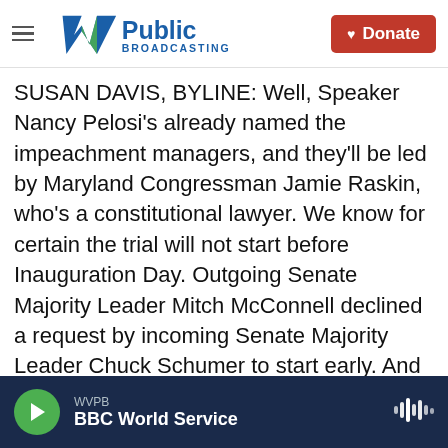WVPB Public Broadcasting | Donate
SUSAN DAVIS, BYLINE: Well, Speaker Nancy Pelosi's already named the impeachment managers, and they'll be led by Maryland Congressman Jamie Raskin, who's a constitutional lawyer. We know for certain the trial will not start before Inauguration Day. Outgoing Senate Majority Leader Mitch McConnell declined a request by incoming Senate Majority Leader Chuck Schumer to start early. And it's going to jam up the schedule. You know, some Senate Democrats are trying to get through an agenda, and they want to be able to get Joe Biden's Cabinet filled out pretty quickly. So it's going to be complicated. They are, however,
WVPB | BBC World Service